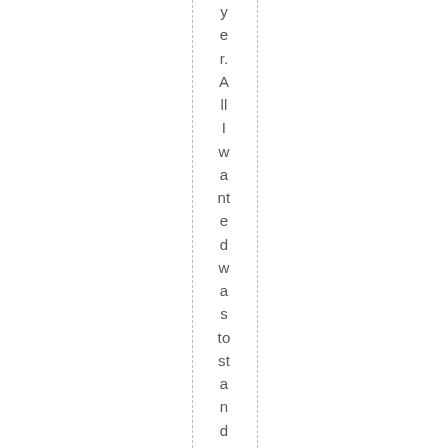yer. All I wanted was to stand there. It wa